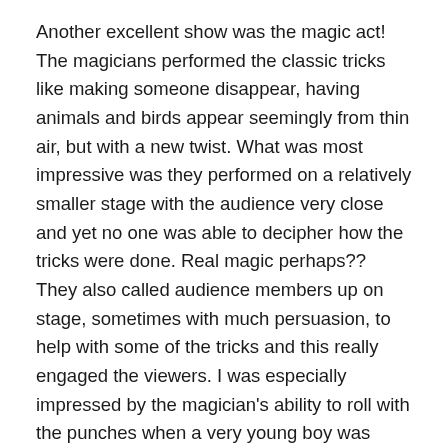Another excellent show was the magic act!  The magicians performed the classic tricks like making someone disappear, having animals and birds appear seemingly from thin air, but with a new twist.  What was most impressive was they performed on a relatively smaller stage with the audience very close and yet no one was able to decipher how the tricks were done.  Real magic perhaps??  They also called audience members up on stage, sometimes with much persuasion, to help with some of the tricks and this really engaged the viewers.  I was especially impressed by the magician's ability to roll with the punches when a very young boy was asked to help with a trick and wasn't quite following orders.  It turned into a comedy routine but in the end the trick went off successfully.
Finally, the food!!  Yup, you have your choice of burgers